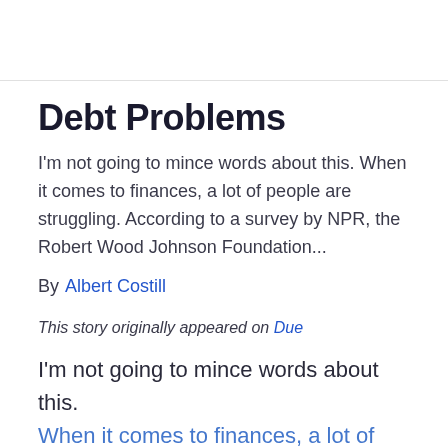Debt Problems
I'm not going to mince words about this. When it comes to finances, a lot of people are struggling. According to a survey by NPR, the Robert Wood Johnson Foundation...
By  Albert Costill
This story originally appeared on Due
I'm not going to mince words about this.
When it comes to finances, a lot of people are